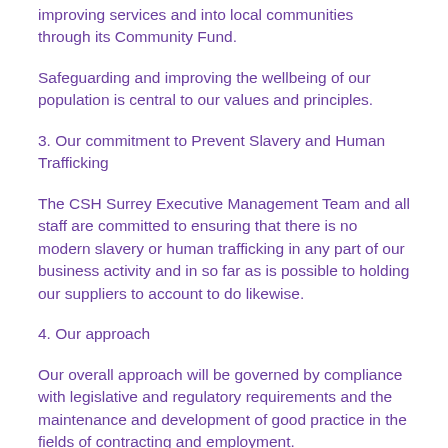improving services and into local communities through its Community Fund.
Safeguarding and improving the wellbeing of our population is central to our values and principles.
3. Our commitment to Prevent Slavery and Human Trafficking
The CSH Surrey Executive Management Team and all staff are committed to ensuring that there is no modern slavery or human trafficking in any part of our business activity and in so far as is possible to holding our suppliers to account to do likewise.
4. Our approach
Our overall approach will be governed by compliance with legislative and regulatory requirements and the maintenance and development of good practice in the fields of contracting and employment.